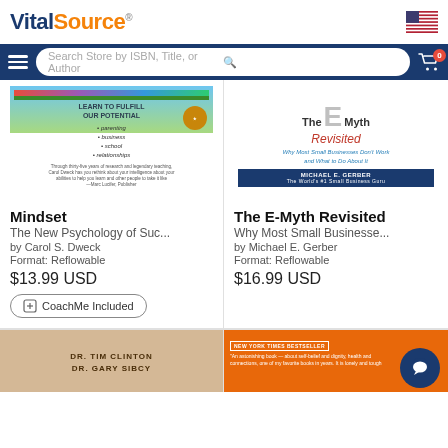[Figure (logo): VitalSource logo with blue 'Vital' and orange 'Source' text]
[Figure (screenshot): US flag icon in top right corner]
[Figure (screenshot): Navigation bar with hamburger menu, search bar 'Search Store by ISBN, Title, or Author', and cart icon with 0 badge]
[Figure (photo): Mindset book cover showing 'Learn to Fulfill Our Potential' with gradient background]
Mindset
The New Psychology of Suc...
by Carol S. Dweck
Format: Reflowable
$13.99 USD
CoachMe Included
[Figure (photo): The E-Myth Revisited book cover by Michael E. Gerber]
The E-Myth Revisited
Why Most Small Businesse...
by Michael E. Gerber
Format: Reflowable
$16.99 USD
[Figure (photo): Dr. Tim Clinton Dr. Gary Sibcy book cover]
[Figure (photo): New York Times Bestseller book cover with orange background]